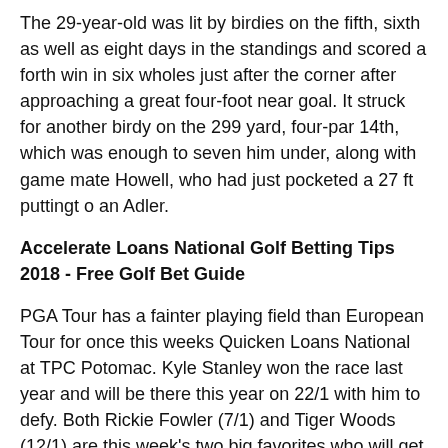The 29-year-old was lit by birdies on the fifth, sixth as well as eight days in the standings and scored a forth win in six wholes just after the corner after approaching a great four-foot near goal. It struck for another birdy on the 299 yard, four-par 14th, which was enough to seven him under, along with game mate Howell, who had just pocketed a 27 ft puttingt o an Adler.
Accelerate Loans National Golf Betting Tips 2018 - Free Golf Bet Guide
PGA Tour has a fainter playing field than European Tour for once this weeks Quicken Loans National at TPC Potomac. Kyle Stanley won the race last year and will be there this year on 22/1 with him to defy. Both Rickie Fowler (7/1) and Tiger Woods (12/1) are this week's two big favorites who will get a big amount of TV airtime.
GM Tipster has another good seasons, have a look how he is doing with our Golf Betting Tips Homepage. Holmes JB 4 points each direction at 25/1 with Sportnation.bet - Fought at the beginning of the Season, but had three Top Fifteen in a row, among them two Top 5s.